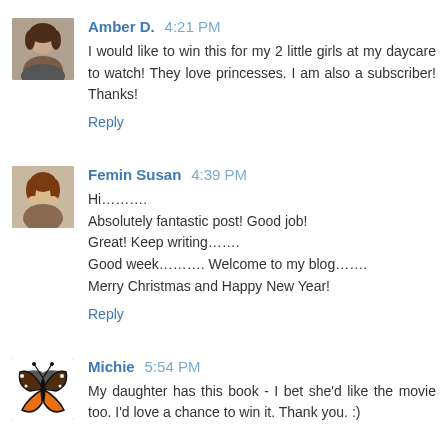Amber D. 4:21 PM
I would like to win this for my 2 little girls at my daycare to watch! They love princesses. I am also a subscriber! Thanks!
Reply
Femin Susan 4:39 PM
Hi………. Absolutely fantastic post! Good job! Great! Keep writing……. Good week………. Welcome to my blog……. Merry Christmas and Happy New Year!
Reply
Michie 5:54 PM
My daughter has this book - I bet she'd like the movie too. I'd love a chance to win it. Thank you. :)